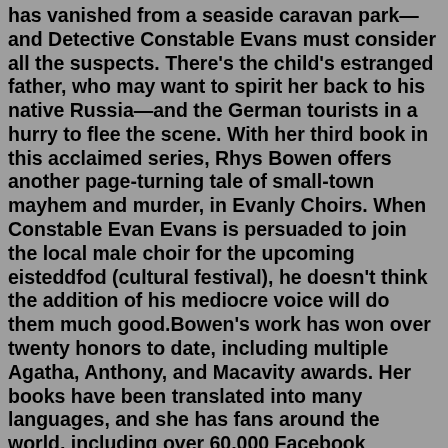has vanished from a seaside caravan park—and Detective Constable Evans must consider all the suspects. There's the child's estranged father, who may want to spirit her back to his native Russia—and the German tourists in a hurry to flee the scene. With her third book in this acclaimed series, Rhys Bowen offers another page-turning tale of small-town mayhem and murder, in Evanly Choirs. When Constable Evan Evans is persuaded to join the local male choir for the upcoming eisteddfod (cultural festival), he doesn't think the addition of his mediocre voice will do them much good.Bowen's work has won over twenty honors to date, including multiple Agatha, Anthony, and Macavity awards. Her books have been translated into many languages, and she has fans around the world, including over 60,000 Facebook followers. Her Evan Evans series, set in Wales, is currently being reissued by Joffe Books in the U.K.Evan and Elle by Rhys Bowen is the fourth book of the Constable Evan Evans humorous mystery series set in late 20th century Wales. Constable Evan